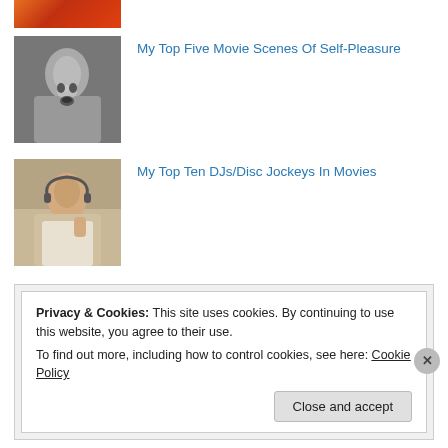[Figure (photo): Partial thumbnail at top, showing warm orange/red tones, cropped at top of page]
[Figure (photo): Black and white photo of a woman with mouth open, artistic portrait style]
My Top Five Movie Scenes Of Self-Pleasure
[Figure (photo): Color photo of a man with headphones, appears to be a DJ or disc jockey]
My Top Ten DJs/Disc Jockeys In Movies
Privacy & Cookies: This site uses cookies. By continuing to use this website, you agree to their use.
To find out more, including how to control cookies, see here: Cookie Policy
Close and accept